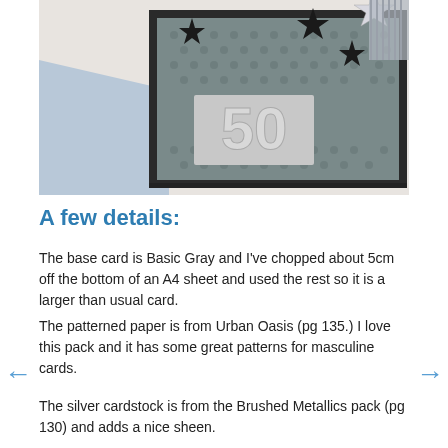[Figure (photo): Close-up photo of a handmade 50th birthday card. The card features a gray polka-dot patterned background with black and silver star decorations and large silver number '50' in the center.]
A few details:
The base card is Basic Gray and I've chopped about 5cm off the bottom of an A4 sheet and used the rest so it is a larger than usual card.
The patterned paper is from Urban Oasis (pg 135.) I love this pack and it has some great patterns for masculine cards.
The silver cardstock is from the Brushed Metallics pack (pg 130) and adds a nice sheen.